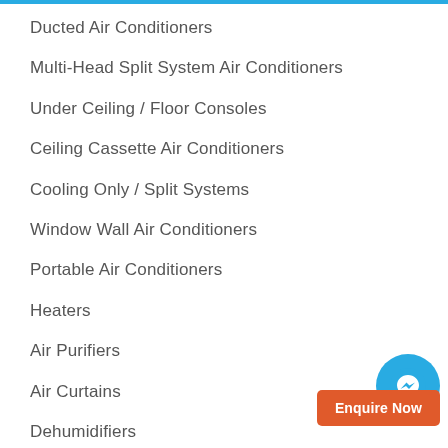Ducted Air Conditioners
Multi-Head Split System Air Conditioners
Under Ceiling / Floor Consoles
Ceiling Cassette Air Conditioners
Cooling Only / Split Systems
Window Wall Air Conditioners
Portable Air Conditioners
Heaters
Air Purifiers
Air Curtains
Dehumidifiers
Ventilation Fans
Hydronic Heating and cooling system